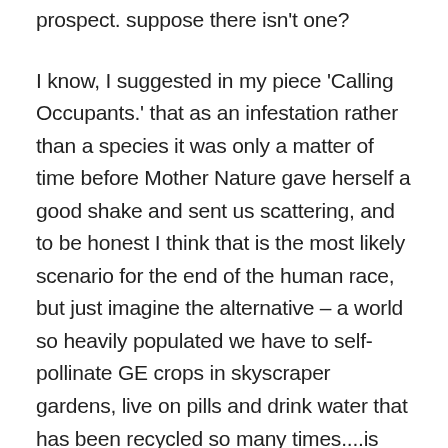prospect. suppose there isn't one?
I know, I suggested in my piece 'Calling Occupants.' that as an infestation rather than a species it was only a matter of time before Mother Nature gave herself a good shake and sent us scattering, and to be honest I think that is the most likely scenario for the end of the human race, but just imagine the alternative – a world so heavily populated we have to self-pollinate GE crops in skyscraper gardens, live on pills and drink water that has been recycled so many times....is that your vision for the future?
Soylent Green?